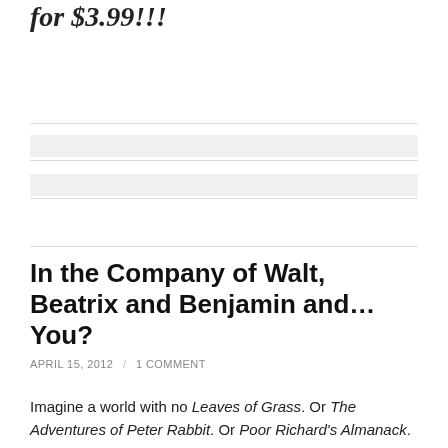for $3.99!!!
In the Company of Walt, Beatrix and Benjamin and…You?
APRIL 15, 2012 / 1 COMMENT
Imagine a world with no Leaves of Grass. Or The Adventures of Peter Rabbit. Or Poor Richard's Almanack.